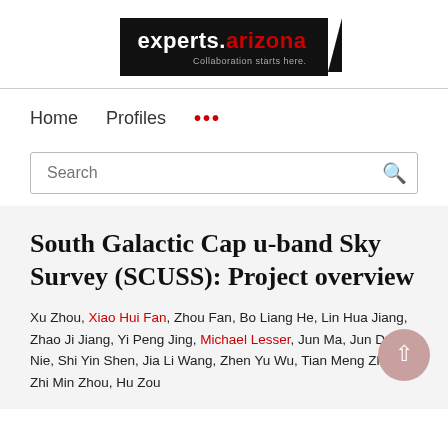[Figure (logo): experts.arizona logo with tagline 'Collaboration starts here.' on black background]
Home   Profiles   ...
Search
South Galactic Cap u-band Sky Survey (SCUSS): Project overview
Xu Zhou, Xiao Hui Fan, Zhou Fan, Bo Liang He, Lin Hua Jiang, Zhao Ji Jiang, Yi Peng Jing, Michael Lesser, Jun Ma, Jun Dan Nie, Shi Yin Shen, Jia Li Wang, Zhen Yu Wu, Tian Meng Zhang, Zhi Min Zhou, Hu Zou